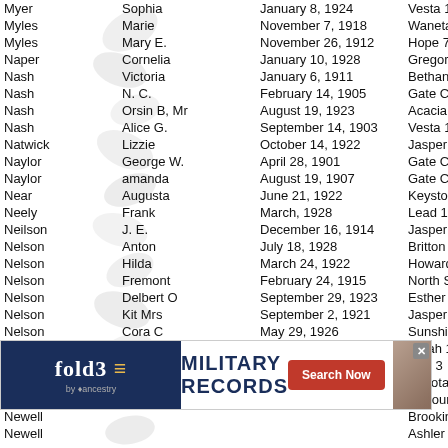| Last Name | First Name | Date | Lodge |
| --- | --- | --- | --- |
| Myer | Sophia | January 8, 1924 | Vesta 1 |
| Myles | Marie | November 7, 1918 | Waneta 4 |
| Myles | Mary E. | November 26, 1912 | Hope 73 |
| Naper | Cornelia | January 10, 1928 | Gregory |
| Nash | Victoria | January 6, 1911 | Bethany |
| Nash | N. C. | February 14, 1905 | Gate City |
| Nash | Orsin B, Mr | August 19, 1923 | Acacia 6 |
| Nash | Alice G. | September 14, 1903 | Vesta 1 |
| Natwick | Lizzie | October 14, 1922 | Jasper 8 |
| Naylor | George W. | April 28, 1901 | Gate City |
| Naylor | amanda | August 19, 1907 | Gate City |
| Near | Augusta | June 21, 1922 | Keystone |
| Neely | Frank | March, 1928 | Lead 18 |
| Neilson | J. E. | December 16, 1914 | Jasper 8 |
| Nelson | Anton | July 18, 1928 | Britton 65 |
| Nelson | Hilda | March 24, 1922 | Howard 7 |
| Nelson | Fremont | February 24, 1915 | North Sta |
| Nelson | Delbert O | September 29, 1923 | Esther 2 |
| Nelson | Kit Mrs | September 2, 1921 | Jasper 8 |
| Nelson | Cora C | May 29, 1926 | Sunshine |
| Nelson | Mabel | August 3, 1926 | Zarah 15 |
| Nelson | Coba | September 7, 1922 | Lois 3 |
| Nesbit | Lucy | January 28, 1926 | Dakota |
| Newell |  |  | Armour 3 |
| Newell |  |  | Brookings |
| Newell |  |  | Ashler 4 |